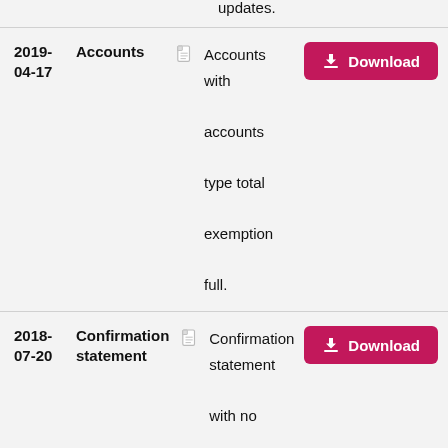updates.
| Date | Type |  | Description | Action |
| --- | --- | --- | --- | --- |
| 2019-04-17 | Accounts |  | Accounts with accounts type total exemption full. | Download |
| 2018-07-20 | Confirmation statement |  | Confirmation statement with no updates. | Download |
| 2018- | Accounts |  | Accounts... | Download |